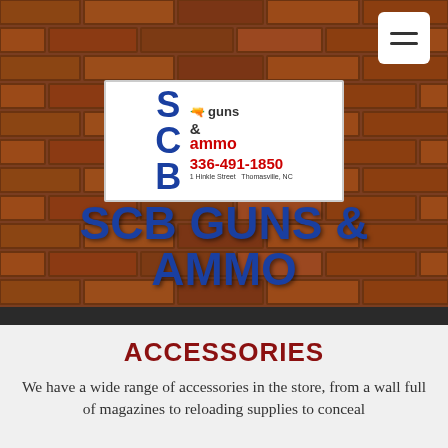[Figure (screenshot): Brick wall background texture in reddish-brown tones covering the top portion of the page]
[Figure (logo): SCB Guns & Ammo logo on white background. Shows 'SCB' in large blue letters, gun icon, 'guns & ammo' text, phone number 336-491-1850 in red, address '1 Hinkle Street Thomasville, NC']
SCB GUNS & AMMO
ACCESSORIES
We have a wide range of accessories in the store, from a wall full of magazines to reloading supplies to conceal